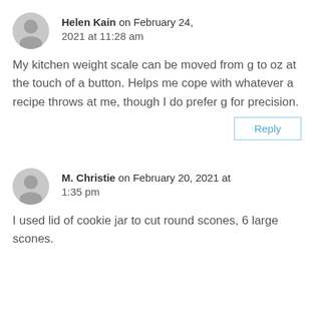Helen Kain on February 24, 2021 at 11:28 am
My kitchen weight scale can be moved from g to oz at the touch of a button. Helps me cope with whatever a recipe throws at me, though I do prefer g for precision.
Reply
M. Christie on February 20, 2021 at 1:35 pm
I used lid of cookie jar to cut round scones, 6 large scones.